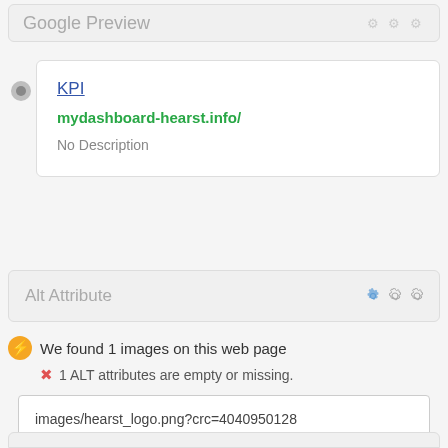Google Preview
KPI
mydashboard-hearst.info/
No Description
Alt Attribute
We found 1 images on this web page
1 ALT attributes are empty or missing.
images/hearst_logo.png?crc=4040950128